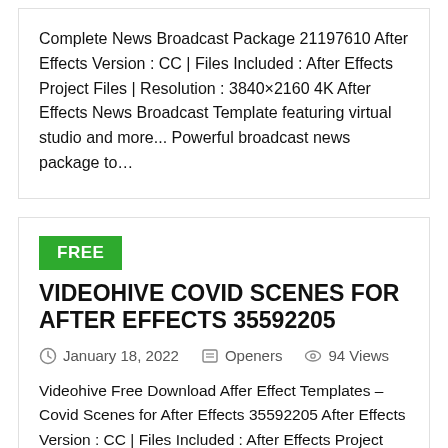Complete News Broadcast Package 21197610 After Effects Version : CC | Files Included : After Effects Project Files | Resolution : 3840×2160 4K After Effects News Broadcast Template featuring virtual studio and more... Powerful broadcast news package to…
VIDEOHIVE COVID SCENES FOR AFTER EFFECTS 35592205
January 18, 2022  Openers  94 Views
Videohive Free Download Affer Effect Templates – Covid Scenes for After Effects 35592205 After Effects Version : CC | Files Included : After Effects Project Files | Resolution : Resizable Colorful, informative, and modern slideshow template in